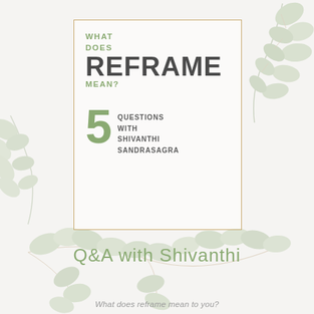[Figure (illustration): Cover page with eucalyptus leaves decorative background, a gold-framed box containing text 'WHAT DOES REFRAME MEAN?' and '5 QUESTIONS WITH SHIVANTHI SANDRASAGRA']
WHAT DOES REFRAME MEAN?
5 QUESTIONS WITH SHIVANTHI SANDRASAGRA
Q&A with Shivanthi
What does reframe mean to you?